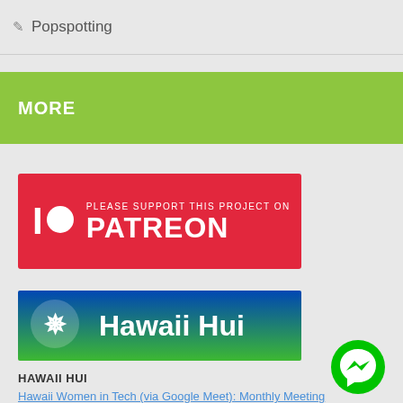Popspotting
MORE
[Figure (logo): Patreon banner with red background, Patreon logo (I with circle) and text 'PLEASE SUPPORT THIS PROJECT ON PATREON' in white]
[Figure (logo): Hawaii Hui banner with gradient background (blue to green), showing Hawaii Hui logo and name in white text]
HAWAII HUI
[Figure (illustration): Green circular Facebook Messenger button icon]
Hawaii Women in Tech (via Google Meet): Monthly Meeting